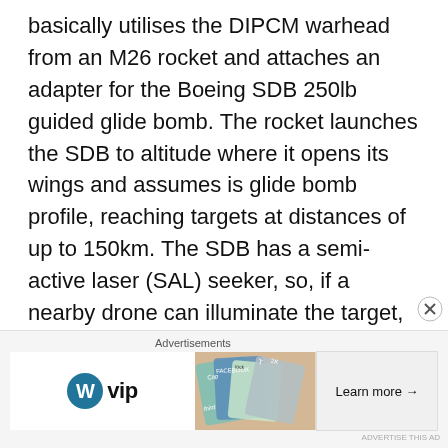basically utilises the DIPCM warhead from an M26 rocket and attaches an adapter for the Boeing SDB 250lb guided glide bomb. The rocket launches the SDB to altitude where it opens its wings and assumes is glide bomb profile, reaching targets at distances of up to 150km. The SDB has a semi-active laser (SAL) seeker, so, if a nearby drone can illuminate the target, it becomes a precision strike tool, again adding a utility in limited conflict scenarios. A future ground-launched version of the UK's SPEAR 3 jet powered 'mini-cruise missile' would have an even longer range, but would require us to spend on
[Figure (infographic): Advertisement banner with WordPress VIP logo on the left, a colorful background image in the middle showing overlapping cards/social media logos, and a 'Learn more →' button on the right]